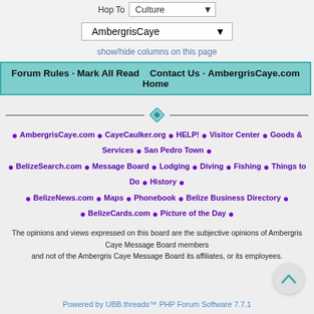Hop To  Culture
AmbergrisCaye
show/hide columns on this page
Forum Rules · Mark All Read    Contact Us · AmbergrisCaye.com Home
[Figure (other): Decorative teal diamond divider with horizontal lines]
• AmbergrisCaye.com • CayeCaulker.org • HELP! • Visitor Center • Goods & Services • San Pedro Town • • BelizeSearch.com • Message Board • Lodging • Diving • Fishing • Things to Do • History • • BelizeNews.com • Maps • Phonebook • Belize Business Directory • • BelizeCards.com • Picture of the Day •
The opinions and views expressed on this board are the subjective opinions of Ambergris Caye Message Board members and not of the Ambergris Caye Message Board its affiliates, or its employees.
Powered by UBB.threads™ PHP Forum Software 7.7.1